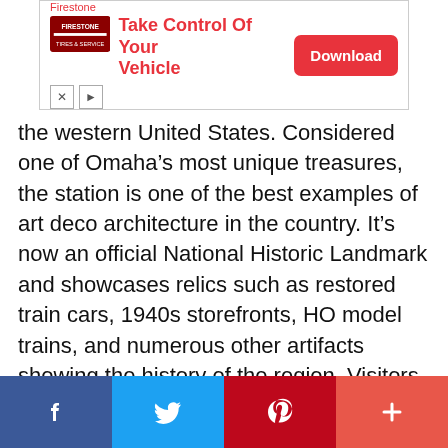[Figure (screenshot): Firestone advertisement banner: logo, tagline 'Take Control Of Your Vehicle', and red Download button]
the western United States. Considered one of Omaha’s most unique treasures, the station is one of the best examples of art deco architecture in the country. It’s now an official National Historic Landmark and showcases relics such as restored train cars, 1940s storefronts, HO model trains, and numerous other artifacts showing the history of the region. Visitors recommend trying the authentic soda fountain and enjoying a phosphate or malt during your stay.
[Figure (infographic): Social sharing bar with Facebook, Twitter, Pinterest, and plus/more buttons]